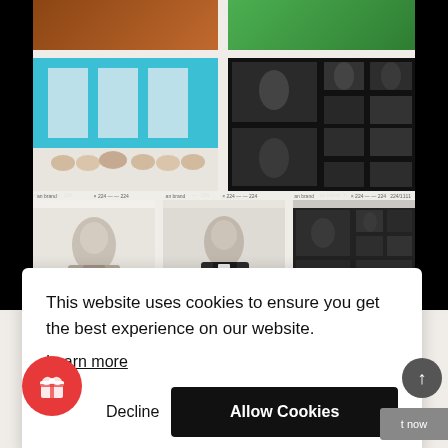[Figure (screenshot): Website screenshot showing a grid of K-pop related photos/album covers, partially obscured by a cookie consent dialog overlay. The grid includes group photos with teal background, dark collage pages, individual artist portraits, and a partially visible image at the bottom.]
This website uses cookies to ensure you get the best experience on our website.
Learn more
Decline
Allow Cookies